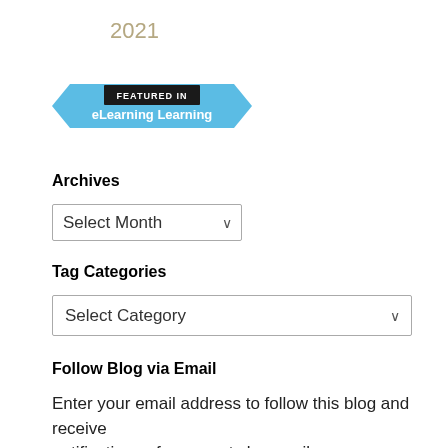2021
[Figure (logo): Featured in eLearning Learning badge — a blue ribbon banner with dark header reading 'FEATURED IN' and white text 'eLearning Learning']
Archives
Select Month
Tag Categories
Select Category
Follow Blog via Email
Enter your email address to follow this blog and receive notifications of new posts by email.